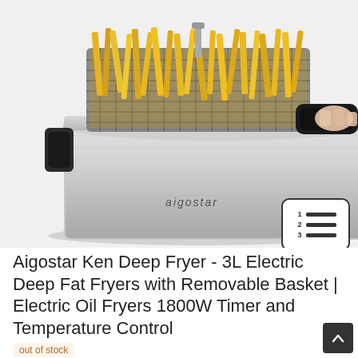[Figure (photo): Aigostar deep fryer with stainless steel body, removable wire basket filled with french fries, and black handle being held by a person's hand. The appliance has black accents on the sides and the Aigostar brand name on the front.]
Aigostar Ken Deep Fryer - 3L Electric Deep Fat Fryers with Removable Basket | Electric Oil Fryers 1800W Timer and Temperature Control
out of stock